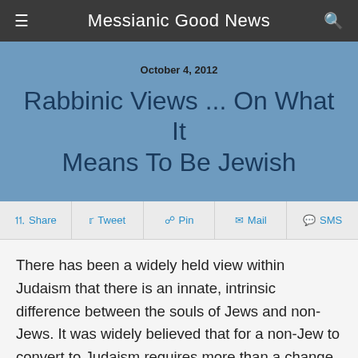Messianic Good News
October 4, 2012
Rabbinic Views ... On What It Means To Be Jewish
Share  Tweet  Pin  Mail  SMS
There has been a widely held view within Judaism that there is an innate, intrinsic difference between the souls of Jews and non-Jews. It was widely believed that for a non-Jew to convert to Judaism requires more than a change of faith or conviction — it would be a transformation of...